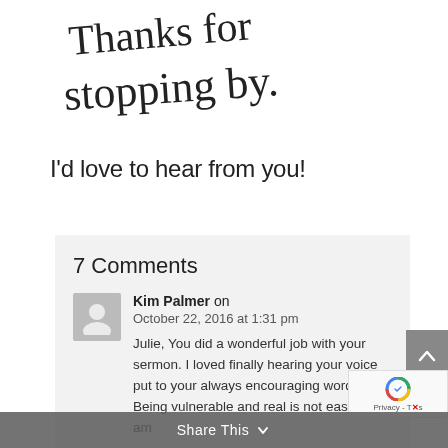[Figure (illustration): Handwritten script text reading 'Thanks for stopping by.' in decorative black calligraphy]
I'd love to hear from you!
7 Comments
Kim Palmer on October 22, 2016 at 1:31 pm
Julie, You did a wonderful job with your sermon. I loved finally hearing your voice put to your always encouraging words. Being vulnerable and real is not easy and I am